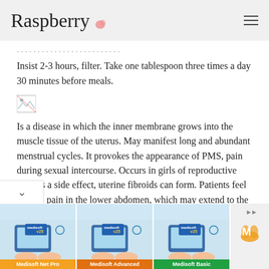Raspberry
...formula is poured with a glass of boiling water. Insist 2-3 hours, filter. Take one tablespoon three times a day 30 minutes before meals.
[Figure (photo): Broken/missing image placeholder]
Is a disease in which the inner membrane grows into the muscle tissue of the uterus. May manifest long and abundant menstrual cycles. It provokes the appearance of PMS, pain during sexual intercourse. Occurs in girls of reproductive age. As a side effect, uterine fibroids can form. Patients feel a sharp pain in the lower abdomen, which may extend to the side...
[Figure (advertisement): Medisoft v25 advertisement banner showing three product versions: Medisoft Net Pro, Medisoft Advanced, Medisoft Basic]